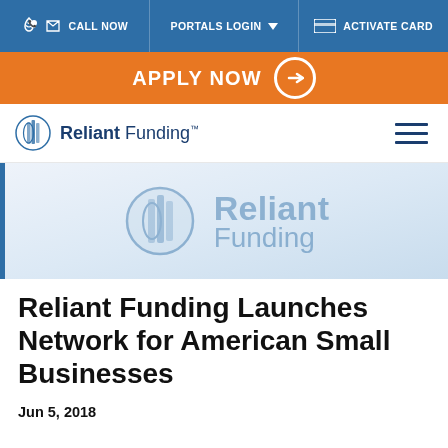CALL NOW | PORTALS LOGIN | ACTIVATE CARD
APPLY NOW
[Figure (logo): Reliant Funding logo in header navigation bar, small size with building/globe icon]
[Figure (logo): Reliant Funding logo watermark in hero banner area, large semi-transparent version with building/globe icon]
Reliant Funding Launches Network for American Small Businesses
Jun 5, 2018